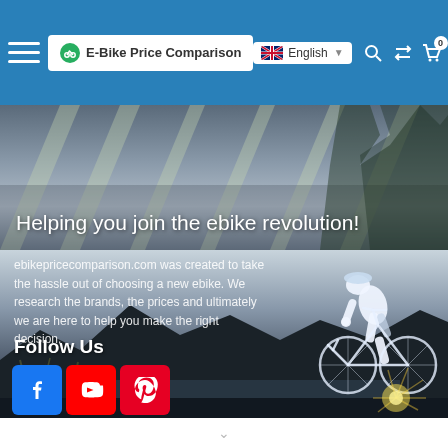E-Bike Price Comparison — Navigation bar with logo, English language selector, search icon, compare icon, cart (0)
[Figure (photo): Hero banner image showing light rays on a road surface with diagonal shadow streaks, overlaid with white text 'Helping you join the ebike revolution!']
Helping you join the ebike revolution!
ebikepricecomparison.com was created to take the hassle out of choosing a new ebike. We research the brands, the prices and ultimately we are here to help you make the right decision.
Follow Us
[Figure (photo): Background photo of a cyclist silhouette riding an e-bike against a mountain landscape with a bright sunburst, social media icons (Facebook, YouTube, Pinterest) in the foreground]